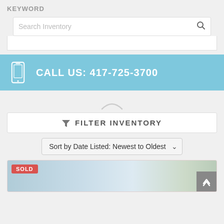KEYWORD
Search Inventory
CALL US: 417-725-3700
FILTER INVENTORY
Sort by Date Listed: Newest to Oldest
SOLD